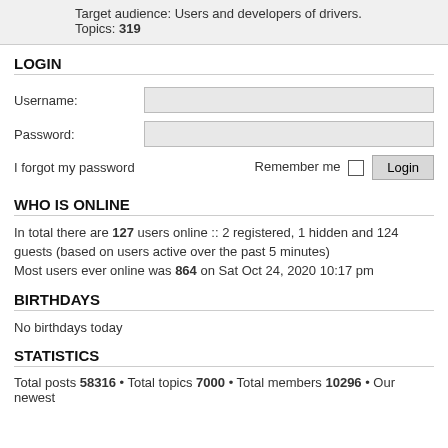Target audience: Users and developers of drivers.
Topics: 319
LOGIN
Username:
Password:
I forgot my password    Remember me  Login
WHO IS ONLINE
In total there are 127 users online :: 2 registered, 1 hidden and 124 guests (based on users active over the past 5 minutes)
Most users ever online was 864 on Sat Oct 24, 2020 10:17 pm
BIRTHDAYS
No birthdays today
STATISTICS
Total posts 58316 • Total topics 7000 • Total members 10296 • Our newest